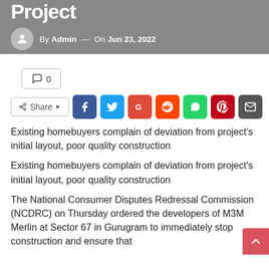By Admin — On Jun 23, 2022
0
Share
Existing homebuyers complain of deviation from project's initial layout, poor quality construction
Existing homebuyers complain of deviation from project's initial layout, poor quality construction
The National Consumer Disputes Redressal Commission (NCDRC) on Thursday ordered the developers of M3M Merlin at Sector 67 in Gurugram to immediately stop construction and ensure that